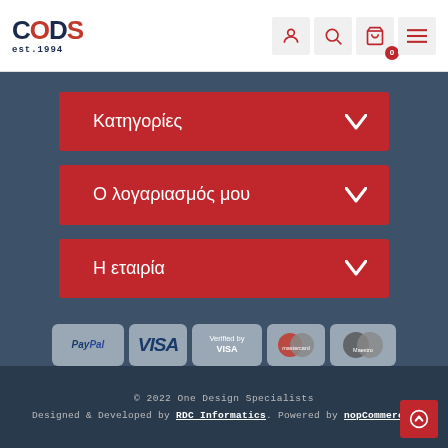CIDS est. 1994 — navigation icons: user, search, cart (0), menu
Κατηγορίες
Ο λογαριασμός μου
Η εταιρία
[Figure (logo): Payment method logos: PayPal, VISA, Verified by VISA, Mastercard, Maestro]
© 2022 One Design Specialists. Designed & Developed by RDC Informatics. Powered by nopCommerce.